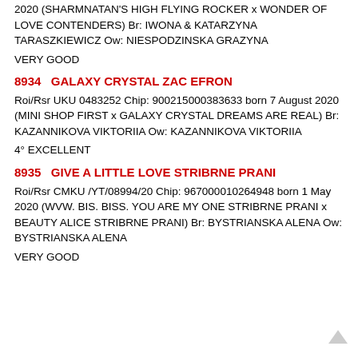2020 (SHARMNATAN'S HIGH FLYING ROCKER x WONDER OF LOVE CONTENDERS) Br: IWONA & KATARZYNA TARASZKIEWICZ Ow: NIESPODZINSKA GRAZYNA
VERY GOOD
8934   GALAXY CRYSTAL ZAC EFRON
Roi/Rsr UKU 0483252 Chip: 900215000383633 born 7 August 2020 (MINI SHOP FIRST x GALAXY CRYSTAL DREAMS ARE REAL) Br: KAZANNIKOVA VIKTORIIA Ow: KAZANNIKOVA VIKTORIIA
4° EXCELLENT
8935   GIVE A LITTLE LOVE STRIBRNE PRANI
Roi/Rsr CMKU /YT/08994/20 Chip: 967000010264948 born 1 May 2020 (WVW. BIS. BISS. YOU ARE MY ONE STRIBRNE PRANI x BEAUTY ALICE STRIBRNE PRANI) Br: BYSTRIANSKA ALENA Ow: BYSTRIANSKA ALENA
VERY GOOD